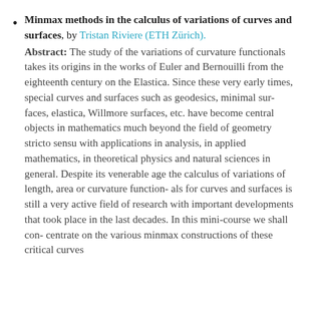Minmax methods in the calculus of variations of curves and surfaces, by Tristan Riviere (ETH Zürich). Abstract: The study of the variations of curvature functionals takes its origins in the works of Euler and Bernouilli from the eighteenth century on the Elastica. Since these very early times, special curves and surfaces such as geodesics, minimal sur- faces, elastica, Willmore surfaces, etc. have become central objects in mathematics much beyond the field of geometry stricto sensu with applications in analysis, in applied mathematics, in theoretical physics and natural sciences in general. Despite its venerable age the calculus of variations of length, area or curvature function- als for curves and surfaces is still a very active field of research with important developments that took place in the last decades. In this mini-course we shall con- centrate on the various minmax constructions of these critical curves